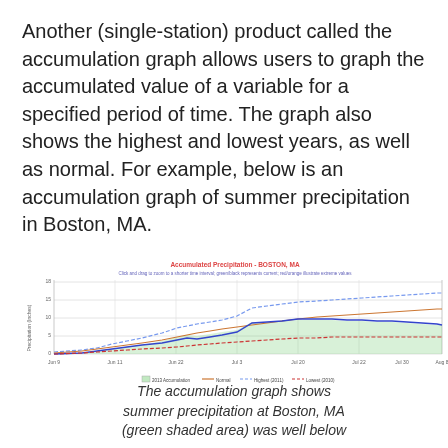Another (single-station) product called the accumulation graph allows users to graph the accumulated value of a variable for a specified period of time. The graph also shows the highest and lowest years, as well as normal. For example, below is an accumulation graph of summer precipitation in Boston, MA.
[Figure (continuous-plot): Line chart showing accumulated precipitation (inches) over summer months (Jun 9 through Aug 8) for Boston, MA. Shows 2013 accumulation (blue shaded area/line), Normal (orange line), Highest (2011, blue dashed line), and Lowest (2010, red dashed line). The y-axis goes from 0 to about 18 inches. The 2013 accumulation stays below normal for most of the period.]
The accumulation graph shows summer precipitation at Boston, MA (green shaded area) was well below